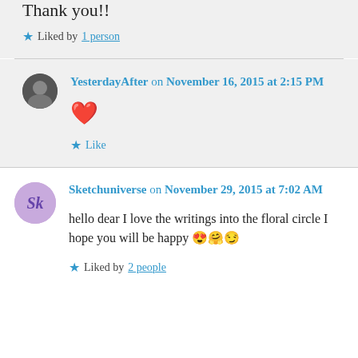Thank you!!
★ Liked by 1 person
YesterdayAfter on November 16, 2015 at 2:15 PM
❤
★ Like
Sketchuniverse on November 29, 2015 at 7:02 AM
hello dear I love the writings into the floral circle I hope you will be happy 😍🤗😏
★ Liked by 2 people